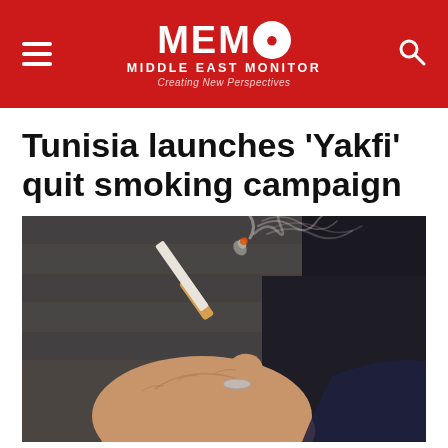MEMO MIDDLE EAST MONITOR Creating New Perspectives
Tunisia launches 'Yakfi' quit smoking campaign
[Figure (photo): Close-up photograph of a hand holding a lit cigarette with smoke rising from it]